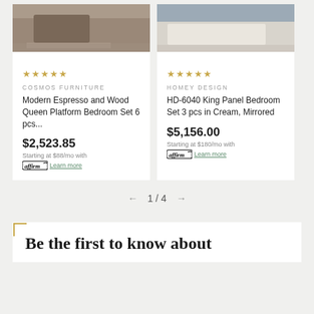[Figure (photo): Top portion of a wooden bedroom set product photo (left card)]
[Figure (photo): Top portion of a cream/mirrored bedroom set product photo (right card)]
★★★★★ COSMOS FURNITURE Modern Espresso and Wood Queen Platform Bedroom Set 6 pcs... $2,523.85 Starting at $88/mo with affirm Learn more
★★★★★ HOMEY DESIGN HD-6040 King Panel Bedroom Set 3 pcs in Cream, Mirrored $5,156.00 Starting at $180/mo with affirm Learn more
1 / 4
Be the first to know about